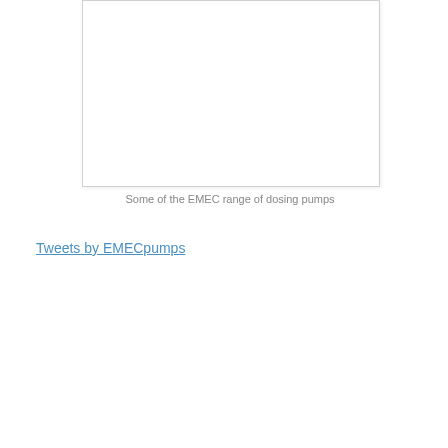[Figure (photo): White rectangular image placeholder showing the EMEC range of dosing pumps]
Some of the EMEC range of dosing pumps
Tweets by EMECpumps